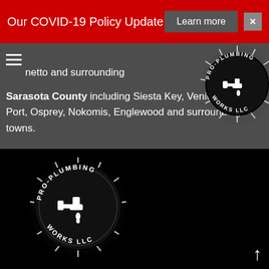Our COVID-19 Policy Update  Learn more  ×
[Figure (logo): Pro-Plumbing Works LLC logo - circular black logo with faucet dripping water and starburst glow effect, top right of navigation area]
netto and surrounding
Sarasota County including Siesta Key, Venice, North Port, Osprey, Nokomis, Englewood and surrounding towns.
[Figure (logo): Pro-Plumbing Works LLC logo - circular black logo with faucet dripping water and starburst glow effect, in dark footer section]